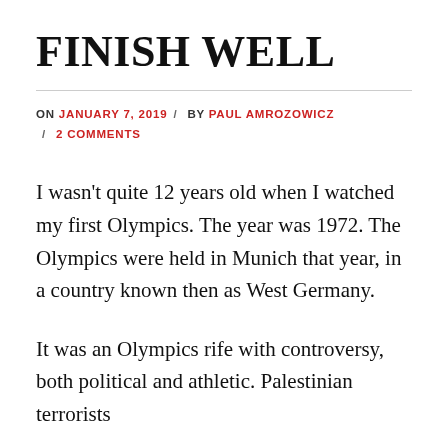FINISH WELL
ON JANUARY 7, 2019 / BY PAUL AMROZOWICZ / 2 COMMENTS
I wasn't quite 12 years old when I watched my first Olympics. The year was 1972. The Olympics were held in Munich that year, in a country known then as West Germany.
It was an Olympics rife with controversy, both political and athletic. Palestinian terrorists